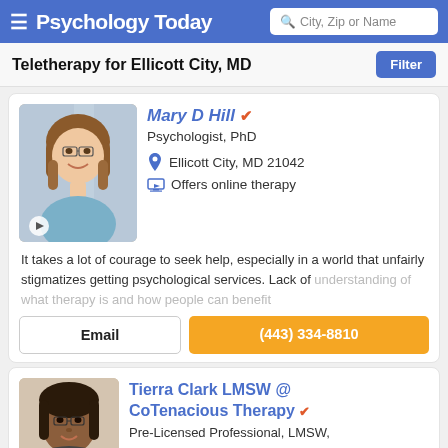Psychology Today — City, Zip or Name search
Teletherapy for Ellicott City, MD
Mary D Hill — Psychologist, PhD — Ellicott City, MD 21042 — Offers online therapy
It takes a lot of courage to seek help, especially in a world that unfairly stigmatizes getting psychological services. Lack of understanding of what therapy is and how people can benefit
Email | (443) 334-8810
Tierra Clark LMSW @ CoTenacious Therapy — Pre-Licensed Professional, LMSW,